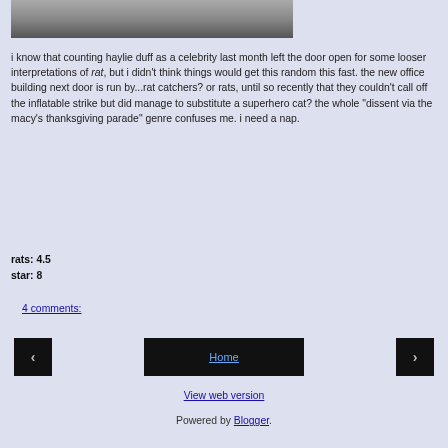[Figure (photo): Top portion of a photo showing a car/vehicle on a street, partially cropped]
i know that counting haylie duff as a celebrity last month left the door open for some looser interpretations of rat, but i didn't think things would get this random this fast. the new office building next door is run by...rat catchers? or rats, until so recently that they couldn't call off the inflatable strike but did manage to substitute a superhero cat? the whole "dissent via the macy's thanksgiving parade" genre confuses me. i need a nap.
rats: 4.5
star: 8
4 comments:
Home
View web version
Powered by Blogger.